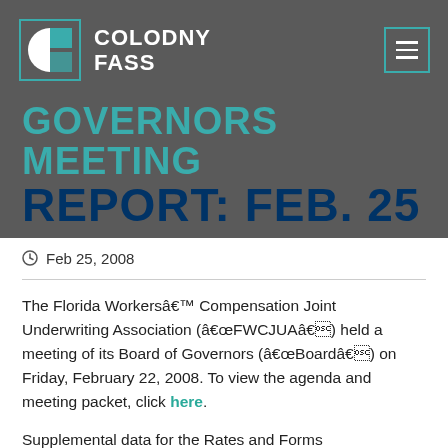COLODNY FASS
GOVERNORS MEETING REPORT: FEB. 25
Feb 25, 2008
The Florida Workersâ€™ Compensation Joint Underwriting Association (â€œFWCJUAâ€) held a meeting of its Board of Governors (â€œBoardâ€) on Friday, February 22, 2008. To view the agenda and meeting packet, click here.
Supplemental data for the Rates and Forms